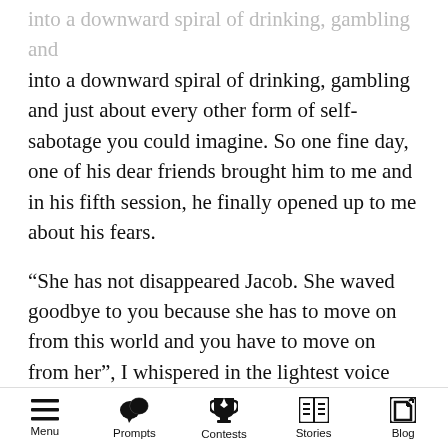into a downward spiral of drinking, gambling and just about every other form of self-sabotage you could imagine. So one fine day, one of his dear friends brought him to me and in his fifth session, he finally opened up to me about his fears.
“She has not disappeared Jacob. She waved goodbye to you because she has to move on from this world and you have to move on from her”, I whispered in the lightest voice possible.
“But, how can I? She was the light of my life, I am nothing without her”, replied a frantic Jacob from the couch where he was currently lying.
Menu  Prompts  Contests  Stories  Blog